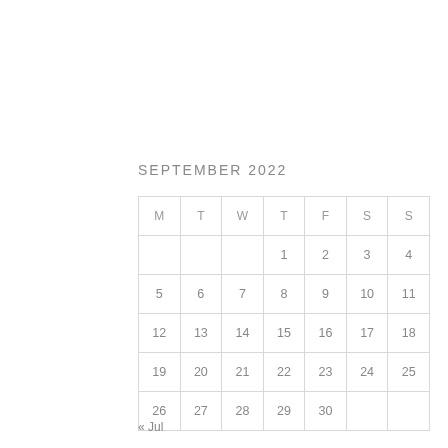SEPTEMBER 2022
| M | T | W | T | F | S | S |
| --- | --- | --- | --- | --- | --- | --- |
|  |  |  | 1 | 2 | 3 | 4 |
| 5 | 6 | 7 | 8 | 9 | 10 | 11 |
| 12 | 13 | 14 | 15 | 16 | 17 | 18 |
| 19 | 20 | 21 | 22 | 23 | 24 | 25 |
| 26 | 27 | 28 | 29 | 30 |  |  |
« Jul